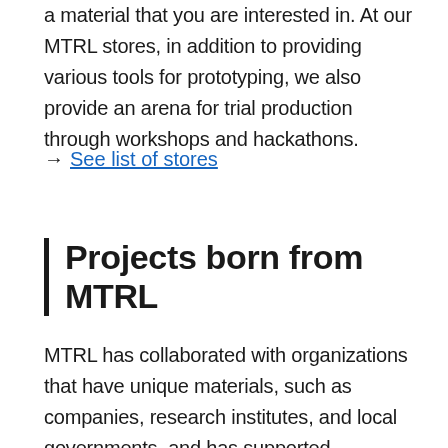a material that you are interested in. At our MTRL stores, in addition to providing various tools for prototyping, we also provide an arena for trial production through workshops and hackathons.
→ See list of stores
Projects born from MTRL
MTRL has collaborated with organizations that have unique materials, such as companies, research institutes, and local governments, and has supported development of new applications for many materials, product development, and